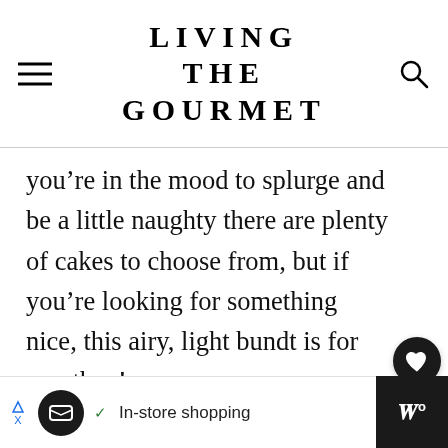LIVING THE GOURMET
you’re in the mood to splurge and be a little naughty there are plenty of cakes to choose from, but if you’re looking for something nice, this airy, light bundt is for you then!
[Figure (other): Heart/like icon in dark circle, share icon in white circle, number 1]
[Figure (other): What's Next thumbnail with text: Orange & Coconut...]
[Figure (other): Bottom advertisement bar: In-store shopping with icons]